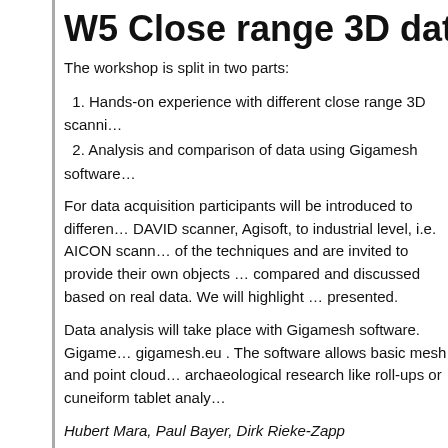W5 Close range 3D data acquis…
The workshop is split in two parts:
1. Hands-on experience with different close range 3D scanni…
2. Analysis and comparison of data using Gigamesh software…
For data acquisition participants will be introduced to differen… DAVID scanner, Agisoft, to industrial level, i.e. AICON scann… of the techniques and are invited to provide their own objects … compared and discussed based on real data. We will highlight … presented.
Data analysis will take place with Gigamesh software. Gigame… gigamesh.eu . The software allows basic mesh and point cloud… archaeological research like roll-ups or cuneiform tablet analy…
Hubert Mara, Paul Bayer, Dirk Rieke-Zapp
W6 Remote sensing with open…